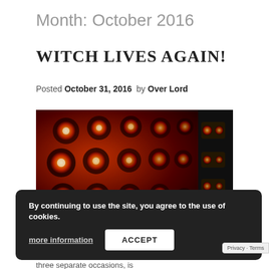Month: October 2016
WITCH LIVES AGAIN!
Posted October 31, 2016  by Over Lord
[Figure (photo): Close-up photograph of rows of glowing orange/red vacuum tubes in a vintage computer (WITCH computer), arranged in a grid pattern against a dark metal chassis.]
By continuing to use the site, you agree to the use of cookies. more information  ACCEPT
The incredible WITCH computer, one of the world's oldest working digital computers, that has risen from the dead on three separate occasions, is